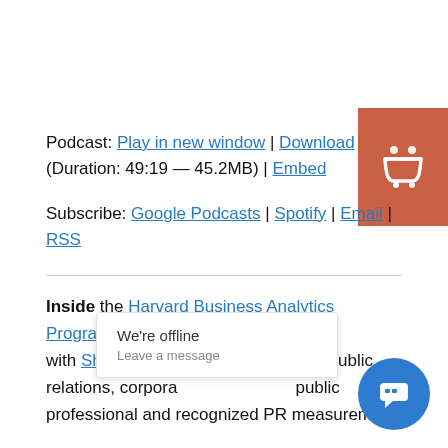Podcast: Play in new window | Download (Duration: 49:19 — 45.2MB) | Embed
Subscribe: Google Podcasts | Spotify | Email | RSS
Inside the Harvard Business Analytics Program with Shonali Burke, an accomplished public relations, corporate and recognized PR measurement professional and recognized PR measurement